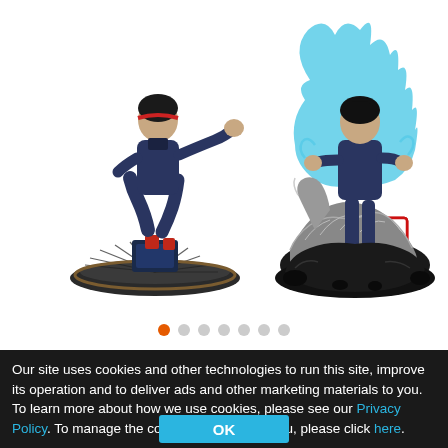[Figure (photo): Two anime collectible figures side by side. Left: a dark-suited male figure in a running/leaping pose on a round dark base, with a red and white 監修中 (under supervision) watermark stamp. Right: a dark-suited male figure standing on a rocky base surrounded by blue flame-like effects and a large wolf/creature, with a red and white 監修中 watermark stamp.]
Our site uses cookies and other technologies to run this site, improve its operation and to deliver ads and other marketing materials to you. To learn more about how we use cookies, please see our Privacy Policy. To manage the cookies we use with you, please click here.